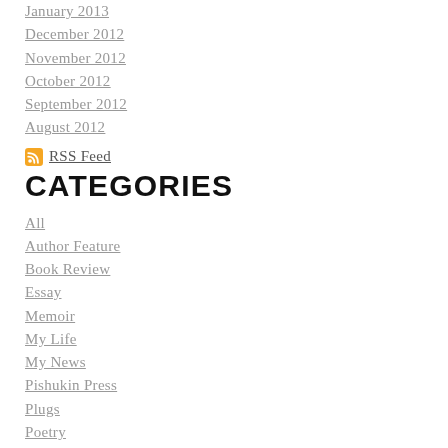January 2013
December 2012
November 2012
October 2012
September 2012
August 2012
RSS Feed
CATEGORIES
All
Author Feature
Book Review
Essay
Memoir
My Life
My News
Pishukin Press
Plugs
Poetry